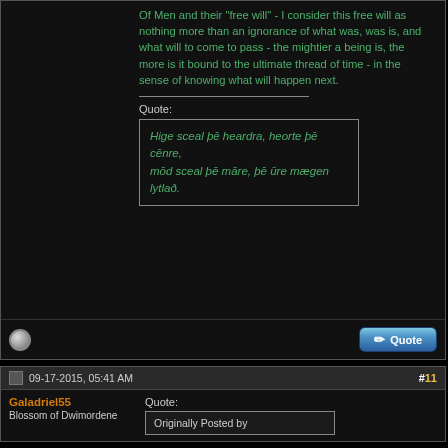Of Men and their "free will" - I consider this free will as nothing more than an ignorance of what was, was is, and what will to come to pass - the mightier a being is, the more is it bound to the ultimate thread of time - in the sense of knowing what will happen next.
Quote:
Hige sceal þē heardra, heorte þē cēnre,
mōd sceal þē māre, þē ūre mægen lytlað.
09-17-2015, 05:41 AM
#11
Galadriel55
Blossom of Dwimordene
Quote:
Originally Posted by